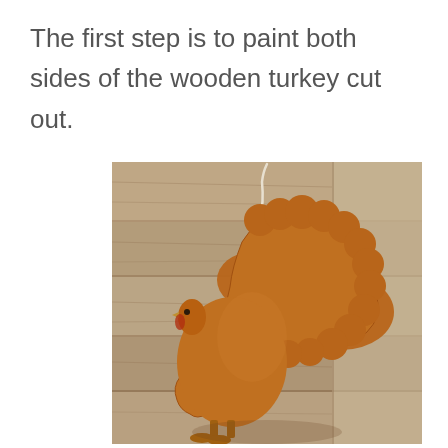The first step is to paint both sides of the wooden turkey cut out.
[Figure (photo): A wooden turkey cut-out ornament painted in brown/terracotta color, lying on a rustic wood plank surface. The turkey shape shows the bird's body with a scalloped tail fan and a small head with beak. A white string is attached at the top for hanging.]